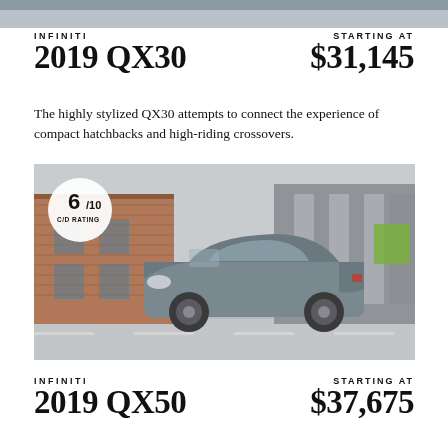[Figure (photo): Partial top strip of a previous car image, cropped at page top]
INFINITI 2019 QX30
STARTING AT $31,145
The highly stylized QX30 attempts to connect the experience of compact hatchbacks and high-riding crossovers.
[Figure (photo): 2019 Infiniti QX30 driving on a city street past brick buildings. A white circle badge shows 6/10 C/D RATING in the top-left corner.]
INFINITI 2019 QX50
STARTING AT $37,675